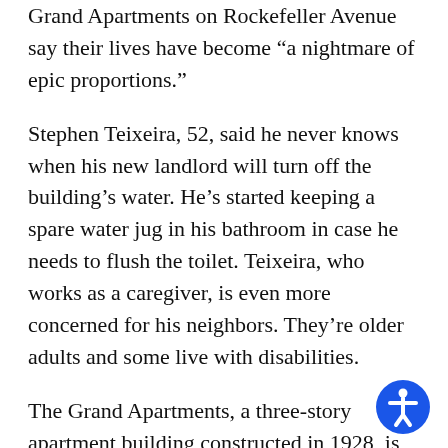Grand Apartments on Rockefeller Avenue say their lives have become “a nightmare of epic proportions.”
Stephen Teixeira, 52, said he never knows when his new landlord will turn off the building’s water. He’s started keeping a spare water jug in his bathroom in case he needs to flush the toilet. Teixeira, who works as a caregiver, is even more concerned for his neighbors. They’re older adults and some live with disabilities.
The Grand Apartments, a three-story apartment building constructed in 1928, is no longer the home Teixeira and his neighbors have loved. Most of the tenants moved in more than a decade ago. One has lived at the Grand for more than 30 years.
Since August, however, residents have lived in fear of